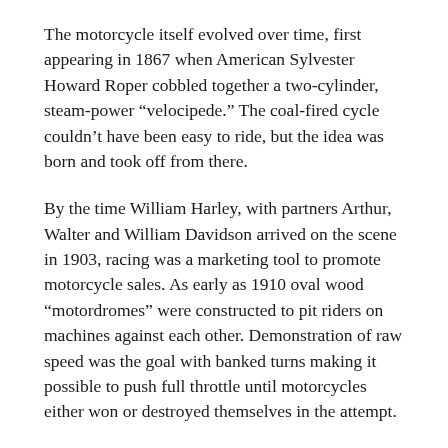The motorcycle itself evolved over time, first appearing in 1867 when American Sylvester Howard Roper cobbled together a two-cylinder, steam-power “velocipede.” The coal-fired cycle couldn’t have been easy to ride, but the idea was born and took off from there.
By the time William Harley, with partners Arthur, Walter and William Davidson arrived on the scene in 1903, racing was a marketing tool to promote motorcycle sales. As early as 1910 oval wood “motordromes” were constructed to pit riders on machines against each other. Demonstration of raw speed was the goal with banked turns making it possible to push full throttle until motorcycles either won or destroyed themselves in the attempt.